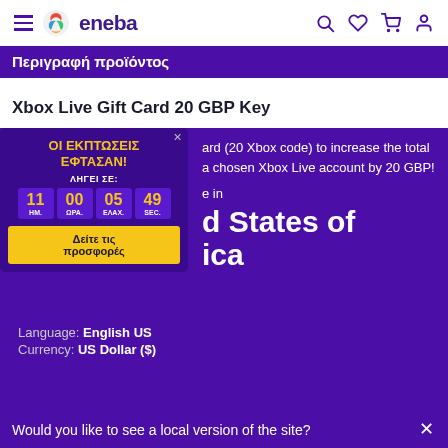eneba — navigation bar with hamburger menu, logo, search, wishlist, cart, account icons
Περιγραφή προϊόντος
Xbox Live Gift Card 20 GBP Key
[Figure (screenshot): Promotional popup overlay with Greek text 'ΟΙ ΕΚΠΤΩΣΕΙΣ ΕΦΤΑΣΑΝ!' and countdown timer showing 11 days, 00 hours, 05 minutes, 49 seconds, with a yellow button 'Δείτε τις προσφορές']
ard (20 Xbox code) to increase the total a chosen Xbox Live account by 20 GBP!
e in
d States of
ica
Language: English US
Currency: US Dollar ($)
Would you like to see a local version of the site?
Yes